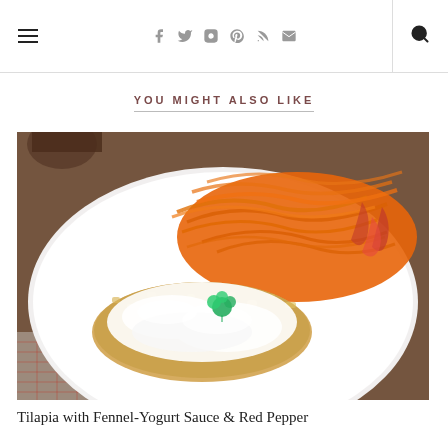☰ social icons search
YOU MIGHT ALSO LIKE
[Figure (photo): A plated dish showing breaded tilapia fish fillet topped with white yogurt/fennel sauce and a parsley garnish, served alongside shredded/julienned orange and red pepper salad on a white plate, on a wooden table with a red checkered cloth.]
Tilapia with Fennel-Yogurt Sauce & Red Pepper